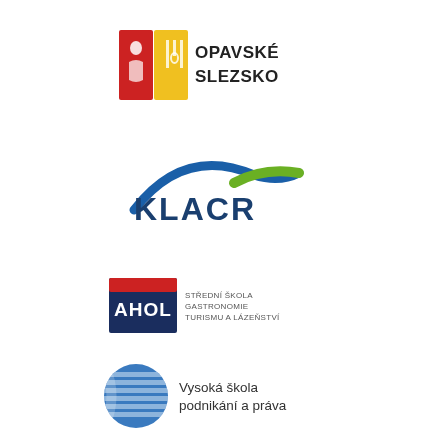[Figure (logo): Opavské Slezsko logo with colored shield icon and bold uppercase text OPAVSKÉ SLEZSKO]
[Figure (logo): KLACR logo with dark blue text and green/blue arc above]
[Figure (logo): AHOL – Střední škola gastronomie, turismu a lázeňství logo with red/navy badge and text]
[Figure (logo): Vysoká škola podnikání a práva logo with blue circular striped icon and text]